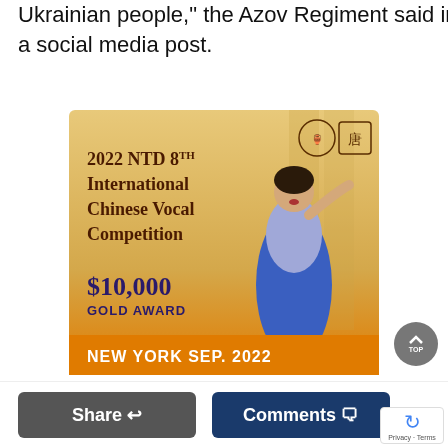Ukrainian people," the Azov Regiment said in a social media post.
[Figure (illustration): Advertisement for 2022 NTD 8th International Chinese Vocal Competition. Gold background with a woman in blue dress singing. Text: '2022 NTD 8TH INTERNATIONAL CHINESE VOCAL COMPETITION', '$10,000 GOLD AWARD', 'NEW YORK SEP. 2022'. Two logos top right.]
In an accompanying video, one of the unit's senior
Share   Comments   Privacy · Terms